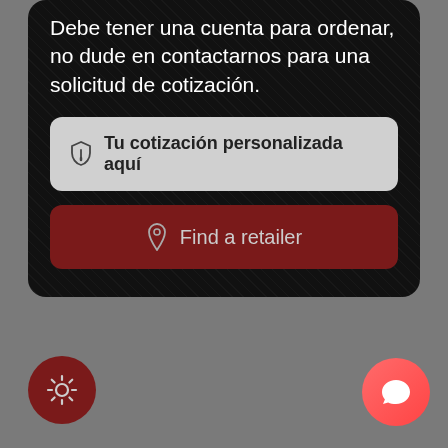Debe tener una cuenta para ordenar, no dude en contactarnos para una solicitud de cotización.
[Figure (screenshot): Button: 'Tu cotización personalizada aquí' with shield icon on grey background]
[Figure (screenshot): Button: 'Find a retailer' with map pin icon on dark red background]
[Figure (screenshot): Gear/settings circular button (dark red) bottom-left corner]
[Figure (screenshot): Chat bubble circular button (pink/red gradient) bottom-right corner]